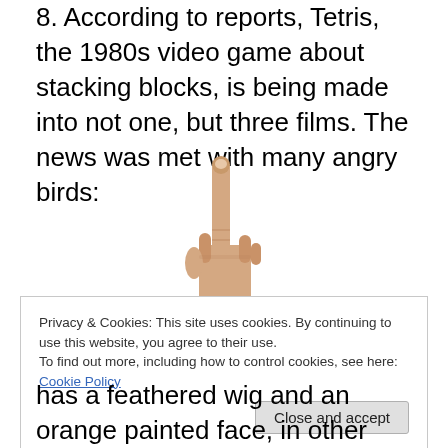8. According to reports, Tetris, the 1980s video game about stacking blocks, is being made into not one, but three films. The news was met with many angry birds:
[Figure (photo): A hand giving the middle finger gesture against a white background]
Privacy & Cookies: This site uses cookies. By continuing to use this website, you agree to their use.
To find out more, including how to control cookies, see here: Cookie Policy
has a feathered wig and an orange painted face, in other